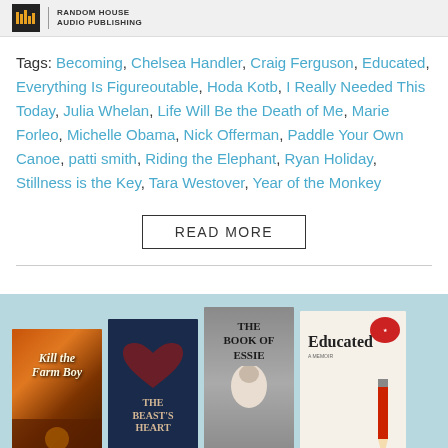Random House Audio Publishing
Tags: Becoming, Chelsea Handler, Craig Ferguson, Educated, Everything Is Figureoutable, Hoda Kotb, I Really Needed This Today, Julia Whelan, Life Will Be the Death of Me, Marie Forleo, Michelle Obama, Nick Offerman, Paddle Your Own Canoe, patti smith, Riding the Elephant, Ryan Holiday, Stillness is the Key, Tara Westover, Year of the Monkey
READ MORE
[Figure (photo): Four book covers displayed side by side on a light blue background: Kill the Farm Boy, The Beast's Heart, The Book of Essie, and Educated by Tara Westover]